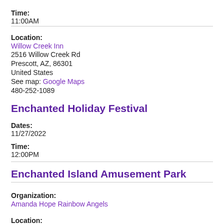Time:
11:00AM
Location:
Willow Creek Inn
2516 Willow Creek Rd
Prescott, AZ, 86301
United States
See map: Google Maps
480-252-1089
Enchanted Holiday Festival
Dates:
11/27/2022
Time:
12:00PM
Enchanted Island Amusement Park
Organization:
Amanda Hope Rainbow Angels
Location: